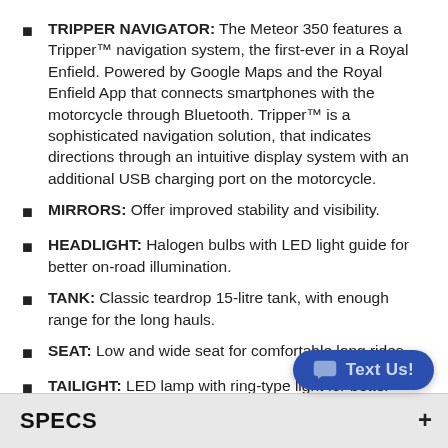TRIPPER NAVIGATOR: The Meteor 350 features a Tripper™ navigation system, the first-ever in a Royal Enfield. Powered by Google Maps and the Royal Enfield App that connects smartphones with the motorcycle through Bluetooth. Tripper™ is a sophisticated navigation solution, that indicates directions through an intuitive display system with an additional USB charging port on the motorcycle.
MIRRORS: Offer improved stability and visibility.
HEADLIGHT: Halogen bulbs with LED light guide for better on-road illumination.
TANK: Classic teardrop 15-litre tank, with enough range for the long hauls.
SEAT: Low and wide seat for comfortable long rides.
TAILIGHT: LED lamp with ring-type light for better visibility.
SPECS